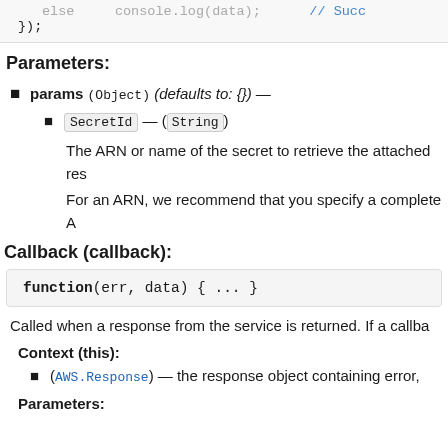[Figure (screenshot): Code snippet showing console.log(data) and });]
Parameters:
params (Object) (defaults to: {}) —
SecretId — (String)
The ARN or name of the secret to retrieve the attached res
For an ARN, we recommend that you specify a complete A
Callback (callback):
[Figure (screenshot): Code box: function(err, data) { ... }]
Called when a response from the service is returned. If a callba
Context (this):
(AWS.Response) — the response object containing error,
Parameters: